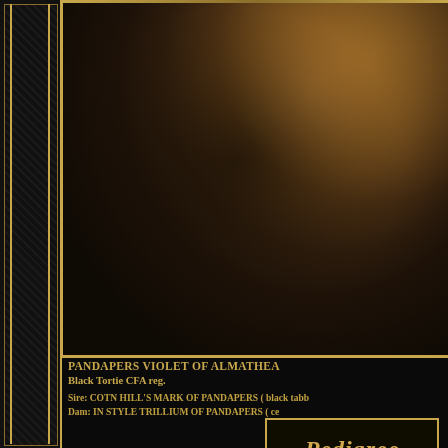[Figure (photo): Close-up photo of a long-haired black tortie cat (Maine Coon or similar breed) with thick fur, shown against a dark background, framed with a gold border.]
PANDAPERS VIOLET OF ALMATHEA
Black Tortie CFA reg.
Sire: COTN HILL'S MARK OF PANDAPERS ( black tabb...
Dam: IN STYLE TRILLIUM OF PANDAPERS ( ce...
[Figure (illustration): Gold ornamental scrollwork / floral decoration divider]
[Figure (photo): Partial photo at the bottom showing what appears to be a white/light colored cat on a red/pink background, framed with a gold border.]